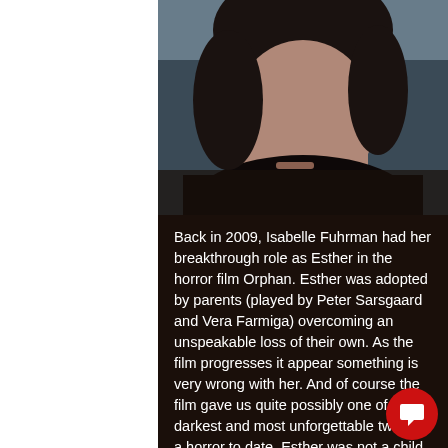[Figure (photo): Close-up photo of a person's face with dark hair and dark clothing against a grey-blue background, only the lower portion of the face visible]
Back in 2009, Isabelle Fuhrman had her breakthrough role as Esther in the horror film Orphan. Esther was adopted by parents (played by Peter Sarsgaard and Vera Farmiga) overcoming an unspeakable loss of their own. As the film progresses it appear something is very wrong with her. And of course the film gave us quite possibly one of the darkest and most unforgettable twists in a horror to date. Esther was not a child at all but an adult woman (named [REDACTED] [REDACTED] with primordial dwarfism